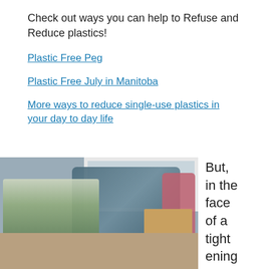Check out ways you can help to Refuse and Reduce plastics!
Plastic Free Peg
Plastic Free July in Manitoba
More ways to reduce single-use plastics in your day to day life
[Figure (photo): A table covered with various plastic items including bottles, plastic bags filled with shredded plastic, a pink bag, and wooden boxes, set against a grey wall with a white-framed window or cabinet in the background.]
But, in the face of a tighten­ing recyc…